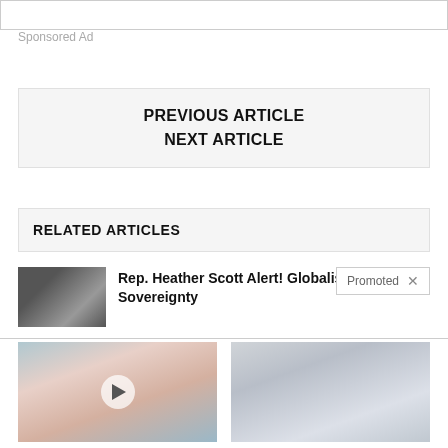Sponsored Ad
PREVIOUS ARTICLE
NEXT ARTICLE
RELATED ARTICLES
Rep. Heather Scott Alert! Globalism vs State Sovereignty
[Figure (photo): Dental procedure photo with woman smiling]
Do This Every Night To Reverse Tooth Decay And Gum Disease — You Won't Believe The Results
[Figure (photo): Luxury SUV interior]
Take A Peek At 2022's Best SUVs For Seniors
4,191